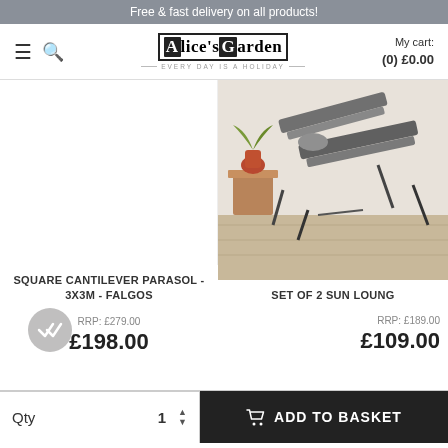Free & fast delivery on all products!
[Figure (logo): Alice's Garden logo with tagline EVERY DAY IS A HOLIDAY]
My cart: (0) £0.00
SQUARE CANTILEVER PARASOL - 3X3M - FALGOS
RRP: £279.00
£198.00
[Figure (photo): Set of 2 sun loungers in grey/black on wooden floor with plant and vase in background]
SET OF 2 SUN LOUNG
RRP: £189.00
£109.00
Qty  1
ADD TO BASKET